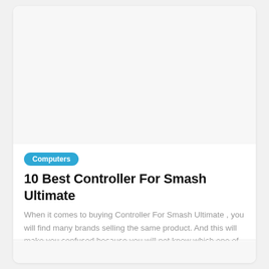[Figure (photo): Blank/white image placeholder area at top of card]
Computers
10 Best Controller For Smash Ultimate
When it comes to buying Controller For Smash Ultimate , you will find many brands selling the same product. And this will make you confused because you will not know which one of these
21 JUNE 2022